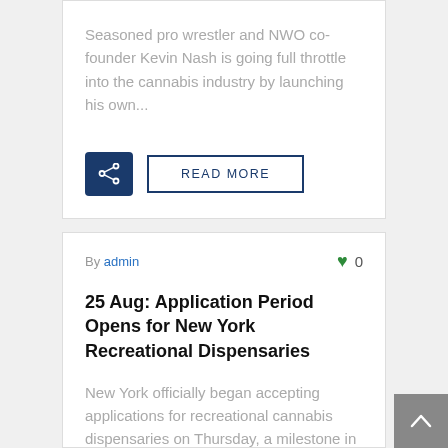Seasoned pro wrestler and NWO co-founder Kevin Nash is going full throttle into the cannabis industry by launching his own...
READ MORE
By admin
0
25 Aug: Application Period Opens for New York Recreational Dispensaries
New York officially began accepting applications for recreational cannabis dispensaries on Thursday, a milestone in the Empire State's new